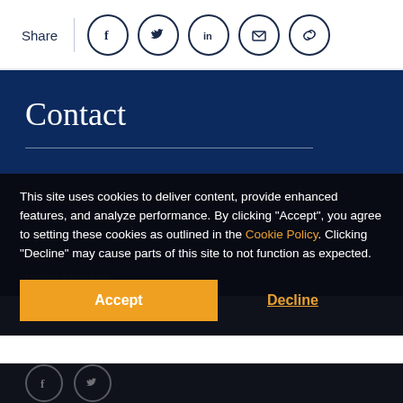Share
[Figure (infographic): Social share icons: Facebook, Twitter, LinkedIn, Email, Link]
Contact
Ashoka UK & Ireland
First Floor, 65 Gresham Street
London
EC2V
United Kingdom
This site uses cookies to deliver content, provide enhanced features, and analyze performance. By clicking "Accept", you agree to setting these cookies as outlined in the Cookie Policy. Clicking "Decline" may cause parts of this site to not function as expected.
Accept
Decline